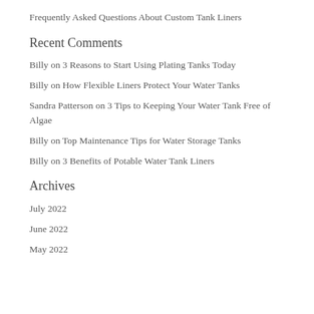Follow?
Frequently Asked Questions About Custom Tank Liners
Recent Comments
Billy on 3 Reasons to Start Using Plating Tanks Today
Billy on How Flexible Liners Protect Your Water Tanks
Sandra Patterson on 3 Tips to Keeping Your Water Tank Free of Algae
Billy on Top Maintenance Tips for Water Storage Tanks
Billy on 3 Benefits of Potable Water Tank Liners
Archives
July 2022
June 2022
May 2022